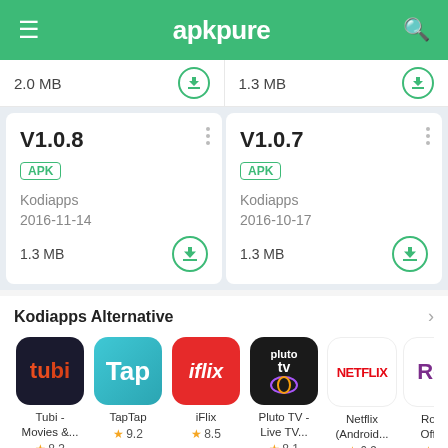[Figure (screenshot): APKPure app header with hamburger menu, apkpure logo, and search icon on green background]
2.0 MB
1.3 MB
V1.0.8
APK
Kodiapps
2016-11-14
1.3 MB
V1.0.7
APK
Kodiapps
2016-10-17
1.3 MB
Kodiapps Alternative
Tubi - Movies &...
★ 8.3
TapTap
★ 9.2
iFlix
★ 8.5
Pluto TV - Live TV...
★ 8.1
Netflix (Android...
★ 6.9
Roku - Official
★ 9.0